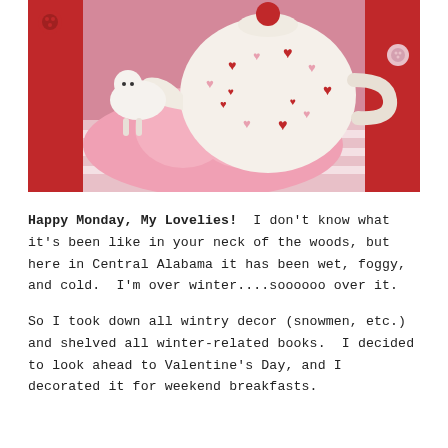[Figure (photo): Top-down photograph of a white ceramic teapot decorated with red and pink hearts, sitting on a pink heart-shaped plate. A small white ceramic sheep/lamb figurine is visible to the left. Red buttons and red/white striped fabric are visible in the background.]
Happy Monday, My Lovelies! I don't know what it's been like in your neck of the woods, but here in Central Alabama it has been wet, foggy, and cold. I'm over winter....soooooo over it.

So I took down all wintry decor (snowmen, etc.) and shelved all winter-related books. I decided to look ahead to Valentine's Day, and I decorated it for weekend breakfasts.